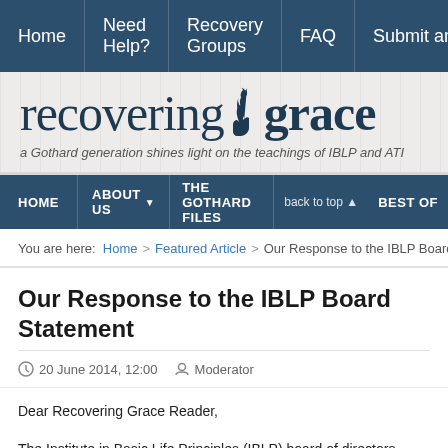Home | Need Help? | Recovery Groups | FAQ | Submit an
[Figure (logo): Recovering Grace logo with hand icon and tagline: a Gothard generation shines light on the teachings of IBLP and ATI]
HOME | ABOUT US | THE GOTHARD FILES | back to top | BEST OF
You are here: Home > Featured Article > Our Response to the IBLP Board Stateme...
Our Response to the IBLP Board Statement
20 June 2014, 12:00  Moderator
Dear Recovering Grace Reader,
The Institute in Basic Life Principles (IBLP) board of directors released